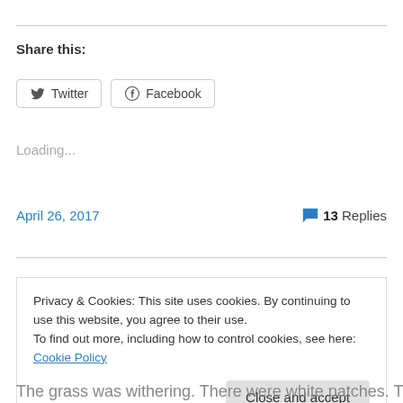Share this:
[Figure (other): Twitter and Facebook share buttons]
Loading...
April 26, 2017   💬 13 Replies
Privacy & Cookies: This site uses cookies. By continuing to use this website, you agree to their use.
To find out more, including how to control cookies, see here: Cookie Policy
The grass was withering. There were white patches. The